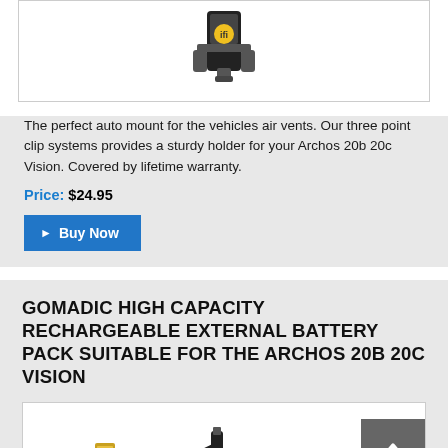[Figure (photo): Product image of a vehicle air vent mount for Archos 20b 20c Vision, shown in white box]
The perfect auto mount for the vehicles air vents. Our three point clip systems provides a sturdy holder for your Archos 20b 20c Vision. Covered by lifetime warranty.
Price: $24.95
▶ Buy Now
GOMADIC HIGH CAPACITY RECHARGEABLE EXTERNAL BATTERY PACK SUITABLE FOR THE ARCHOS 20B 20C VISION
[Figure (photo): Product image of external battery pack accessories for Archos 20b 20c Vision, showing USB adapter and cables]